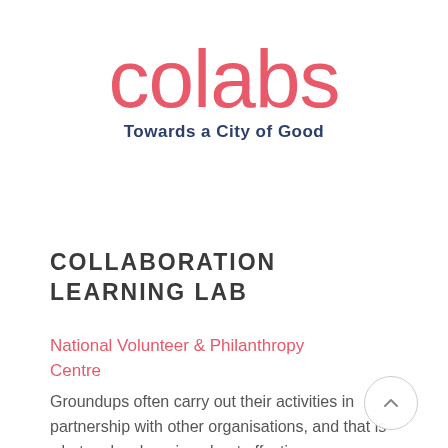[Figure (logo): colabs logo — large pink/salmon lowercase text 'colabs' with dark navy tagline 'Towards a City of Good' below]
COLLABORATION LEARNING LAB
National Volunteer & Philanthropy Centre
Groundups often carry out their activities in partnership with other organisations, and that is what makes learning about effective